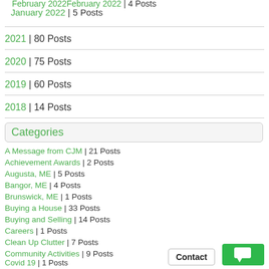February 2022 | 4 Posts
January 2022 | 5 Posts
2021 | 80 Posts
2020 | 75 Posts
2019 | 60 Posts
2018 | 14 Posts
Categories
A Message from CJM | 21 Posts
Achievement Awards | 2 Posts
Augusta, ME | 5 Posts
Bangor, ME | 4 Posts
Brunswick, ME | 1 Posts
Buying a House | 33 Posts
Buying and Selling | 14 Posts
Careers | 1 Posts
Clean Up Clutter | 7 Posts
Community Activities | 9 Posts
Covid 19 | 1 Posts
Cuisine | 1 Posts